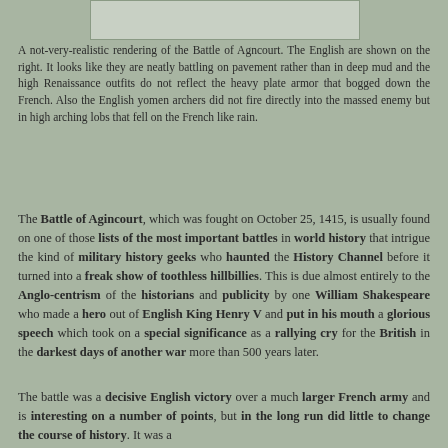[Figure (illustration): A rendering of the Battle of Agincourt image placeholder at top of page]
A not-very-realistic rendering of the Battle of Agncourt. The English are shown on the right. It looks like they are neatly battling on pavement rather than in deep mud and the high Renaissance outfits do not reflect the heavy plate armor that bogged down the French. Also the English yomen archers did not fire directly into the massed enemy but in high arching lobs that fell on the French like rain.
The Battle of Agincourt, which was fought on October 25, 1415, is usually found on one of those lists of the most important battles in world history that intrigue the kind of military history geeks who haunted the History Channel before it turned into a freak show of toothless hillbillies. This is due almost entirely to the Anglo-centrism of the historians and publicity by one William Shakespeare who made a hero out of English King Henry V and put in his mouth a glorious speech which took on a special significance as a rallying cry for the British in the darkest days of another war more than 500 years later.
The battle was a decisive English victory over a much larger French army and is interesting on a number of points, but in the long run did little to change the course of history. It was a